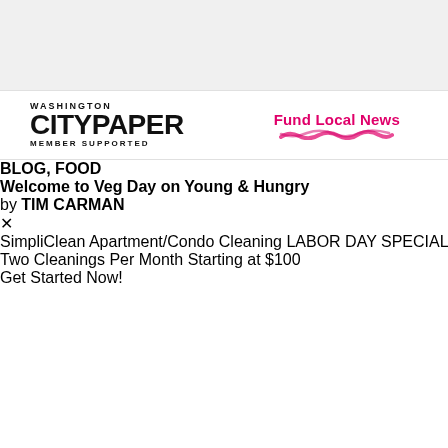[Figure (other): Top gray advertisement banner area]
WASHINGTON CITYPAPER MEMBER SUPPORTED | Fund Local News
BLOG, FOOD
Welcome to Veg Day on Young & Hungry
by TIM CARMAN
[Figure (photo): Bottom advertisement banner for SimpliClean Apartment/Condo Cleaning Labor Day Special]